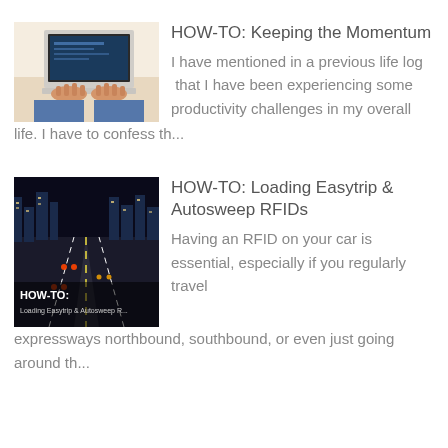[Figure (photo): Person typing on a laptop computer, view from above showing hands on keyboard]
HOW-TO: Keeping the Momentum
I have mentioned in a previous life log  that I have been experiencing some productivity challenges in my overall life. I have to confess th...
[Figure (photo): Night road expressway with cars and text overlay reading HOW-TO: Loading Easytrip & Autosweep RFIDs]
HOW-TO: Loading Easytrip & Autosweep RFIDs
Having an RFID on your car is essential, especially if you regularly travel expressways northbound, southbound, or even just going around th...